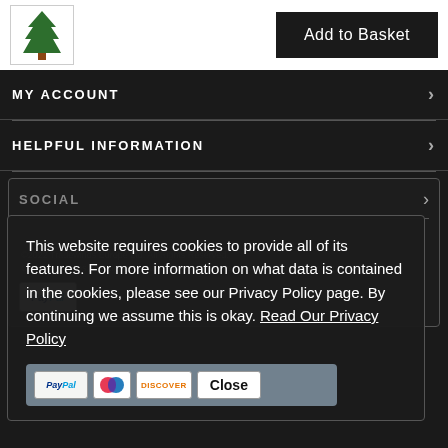[Figure (illustration): Small Christmas tree product thumbnail image]
Add to Basket
MY ACCOUNT
HELPFUL INFORMATION
SOCIAL
This website requires cookies to provide all of its features. For more information on what data is contained in the cookies, please see our Privacy Policy page. By continuing we assume this is okay. Read Our Privacy Policy
©2022 Tradewinds Europe Ltd. All Rights Reserved. Christmas Trees and Lights is part of the Tradewinds Europe Ltd group of companies.
[Figure (logo): Payment icons: PayPal, Maestro, Discover, Close button]